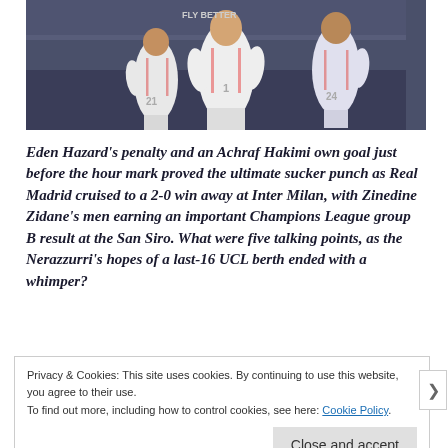[Figure (photo): Real Madrid players in white jerseys with pink stripes celebrating or running, photographed at San Siro. One player has number 21, another has number 24. The background is dark, suggesting a night match.]
Eden Hazard's penalty and an Achraf Hakimi own goal just before the hour mark proved the ultimate sucker punch as Real Madrid cruised to a 2-0 win away at Inter Milan, with Zinedine Zidane's men earning an important Champions League group B result at the San Siro. What were five talking points, as the Nerazzurri's hopes of a last-16 UCL berth ended with a whimper?
Privacy & Cookies: This site uses cookies. By continuing to use this website, you agree to their use. To find out more, including how to control cookies, see here: Cookie Policy